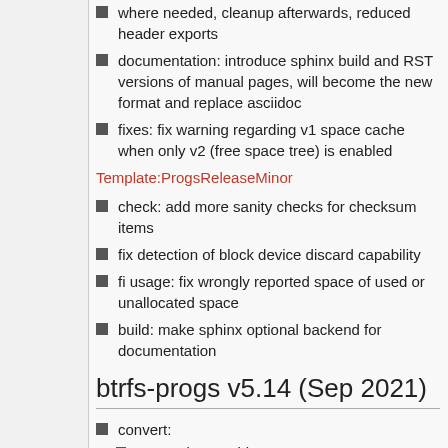where needed, cleanup afterwards, reduced header exports
documentation: introduce sphinx build and RST versions of manual pages, will become the new format and replace asciidoc
fixes: fix warning regarding v1 space cache when only v2 (free space tree) is enabled
Template:ProgsReleaseMinor
check: add more sanity checks for checksum items
fix detection of block device discard capability
fi usage: fix wrongly reported space of used or unallocated space
build: make sphinx optional backend for documentation
btrfs-progs v5.14 (Sep 2021)
convert:
new option --uuid to copy, generate or set a given uuid
improve output